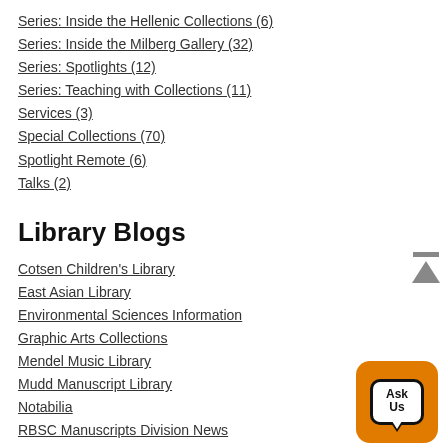Series: Inside the Hellenic Collections (6)
Series: Inside the Milberg Gallery (32)
Series: Spotlights (12)
Series: Teaching with Collections (11)
Services (3)
Special Collections (70)
Spotlight Remote (6)
Talks (2)
Library Blogs
Cotsen Children's Library
East Asian Library
Environmental Sciences Information
Graphic Arts Collections
Mendel Music Library
Mudd Manuscript Library
Notabilia
RBSC Manuscripts Division News